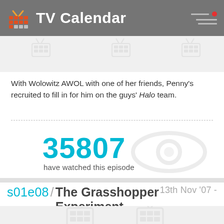TV Calendar
With Wolowitz AWOL with one of her friends, Penny's recruited to fill in for him on the guys' Halo team.
35807 have watched this episode
s01e08 / The Grasshopper Experiment   13th Nov '07 -